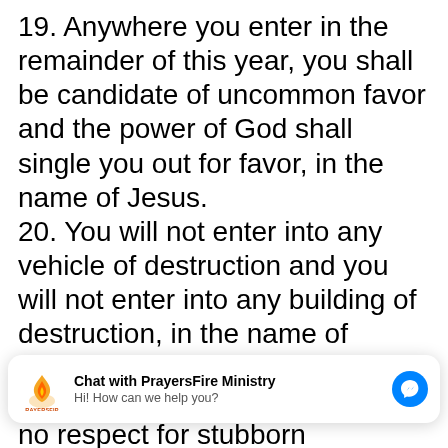19. Anywhere you enter in the remainder of this year, you shall be candidate of uncommon favor and the power of God shall single you out for favor, in the name of Jesus.
20. You will not enter into any vehicle of destruction and you will not enter into any building of destruction, in the name of Jesus.
[Figure (screenshot): Chat widget overlay: PrayersFire Ministry logo (flame icon), bold text 'Chat with PrayersFire Ministry', subtitle 'Hi! How can we help you?', and a blue Facebook Messenger icon on the right.]
no respect for stubborn